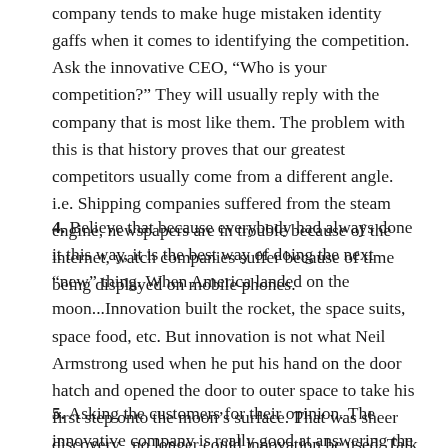company tends to make huge mistaken identity gaffs when it comes to identifying the competition. Ask the innovative CEO, “Who is your competition?” They will usually reply with the company that is most like them. The problem with this is that history proves that our greatest competitors usually come from a different angle. i.e. Shipping companies suffered from the steam engine, newspapers are in trouble because of the internet, watch companies suffer because of time being displayed on mobile phones.
4. Believe that because everybody had always done it this way, it is the best way of doing the next “new” thing. When America landed on the moon...Innovation built the rocket, the space suits, space food, etc. But innovation is not what Neil Armstrong used when he put his hand on the door hatch and opened the door to outer space to take his first step onto the moon’s surface. That was sheer discovery...no longer could innovation be used. Talk about a humbling moment.
5. Asking the customers for their opinion. The innovative company is really good at answering the questions that their